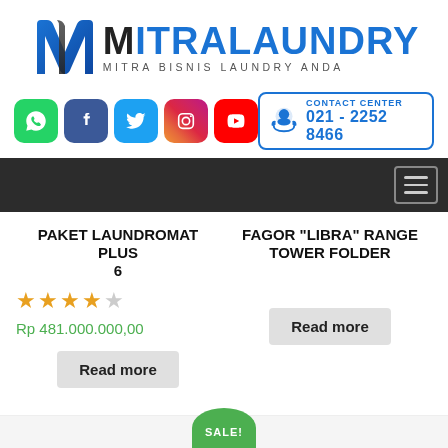[Figure (logo): Mitra Laundry logo with stylized M icon in blue/black and text MITRALAUNDRY with tagline MITRA BISNIS LAUNDRY ANDA]
[Figure (infographic): Social media icons row: WhatsApp, Facebook, Twitter, Instagram, YouTube; plus Contact Center box with phone number 021-2252 8466]
[Figure (screenshot): Dark navigation bar with hamburger menu icon on the right]
PAKET LAUNDROMAT PLUS 6
★★★★☆ Rp 481.000.000,00
Read more
FAGOR "LIBRA" RANGE TOWER FOLDER
Read more